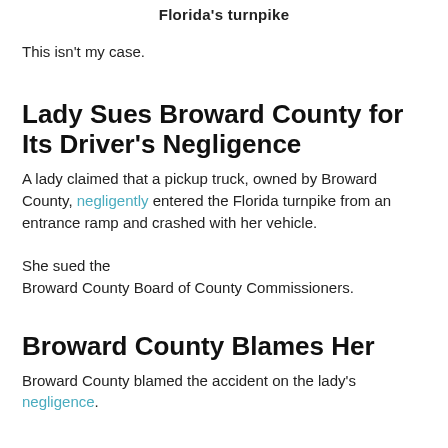Florida's turnpike
This isn't my case.
Lady Sues Broward County for Its Driver's Negligence
A lady claimed that a pickup truck, owned by Broward County, negligently entered the Florida turnpike from an entrance ramp and crashed with her vehicle.
She sued the Broward County Board of County Commissioners.
Broward County Blames Her
Broward County blamed the accident on the lady's negligence.